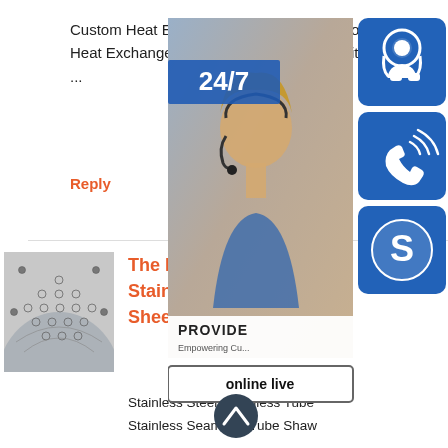Custom Heat Exchangers XchangerAir Cooled Heat Exchanger:Cools 3 flu under 1 fan With 3 ...
Reply
[Figure (photo): Photo of a stainless steel tube sheet showing tube holes in a curved/dome pattern]
The Best Quality Stainless Steel Tube Sheet
Stainless Steel Seamless Tube
Stainless Seamless Tube Shaw
[Figure (infographic): Customer service overlay widget showing: 24/7 label, woman with headset photo, three blue icon boxes (headset, phone, Skype icons), PROVIDE Empowering Customers banner, online live button, and scroll-up arrow]